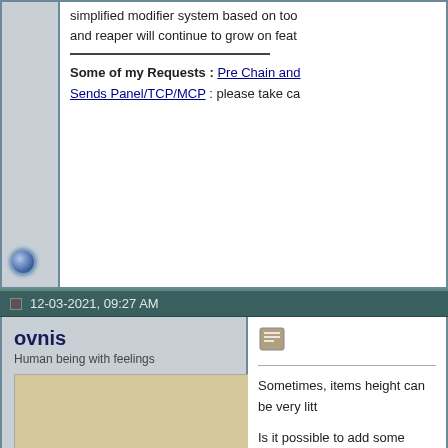simplified modifier system based on too and reaper will continue to grow on feat
Some of my Requests : Pre Chain and Sends Panel/TCP/MCP : please take ca
12-03-2021, 09:27 AM
ovnis
Human being with feelings
[Figure (illustration): UFO / flying saucer illustration in vintage woodcut style, beige/tan background with dark trees]
Join Date: Oct 2011
Posts: 2,496
Sometimes, items height can be very litt
Is it possible to add some height, please
[Figure (screenshot): REAPER DAW screenshot showing track list with large blue BEF text header, plugin slots labeled Pro-Q3 and Volcano 2, numbered tracks 1 and 2]